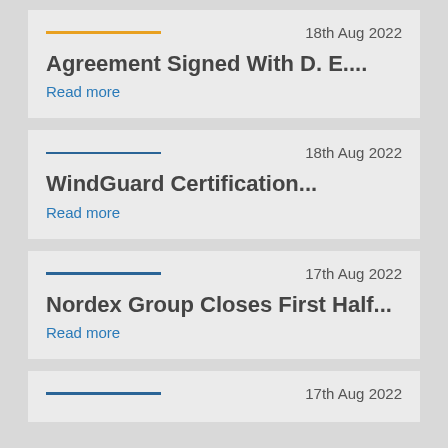18th Aug 2022
Agreement Signed With D. E....
Read more
18th Aug 2022
WindGuard Certification...
Read more
17th Aug 2022
Nordex Group Closes First Half...
Read more
17th Aug 2022